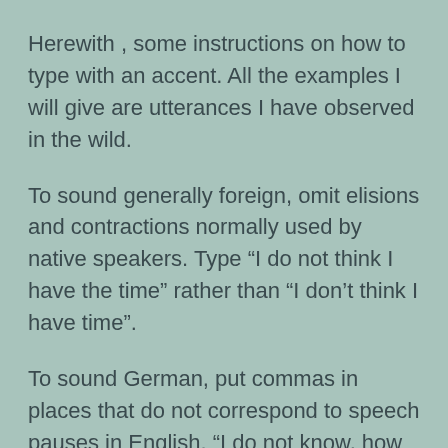Herewith , some instructions on how to type with an accent. All the examples I will give are utterances I have observed in the wild.
To sound generally foreign, omit elisions and contractions normally used by native speakers. Type “I do not think I have the time” rather than “I don’t think I have time”.
To sound German, put commas in places that do not correspond to speech pauses in English. “I do not know, how he could have believed that.”